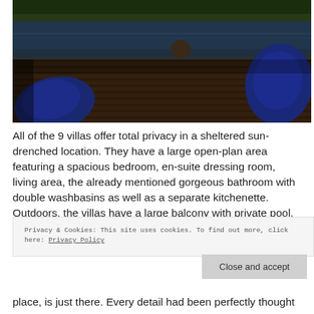[Figure (photo): Outdoor infinity pool with a person swimming, blue bean bag chairs on a wooden deck, surrounded by tropical greenery]
All of the 9 villas offer total privacy in a sheltered sun-drenched location. They have a large open-plan area featuring a spacious bedroom, en-suite dressing room, living area, the already mentioned gorgeous bathroom with double washbasins as well as a separate kitchenette. Outdoors, the villas have a large balcony with private pool, a relaxation area and a private sundeck with
Privacy & Cookies: This site uses cookies. To find out more, click here: Privacy Policy
Close and accept
place, is just there. Every detail had been perfectly thought